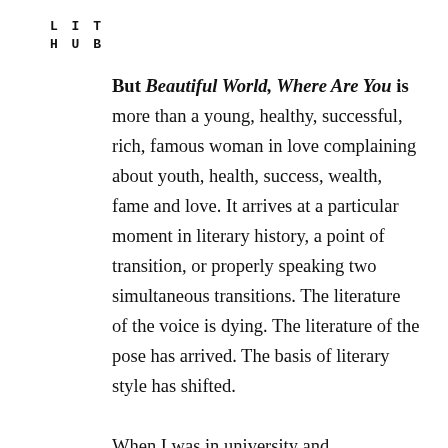LIT
HUB
But Beautiful World, Where Are You is more than a young, healthy, successful, rich, famous woman in love complaining about youth, health, success, wealth, fame and love. It arrives at a particular moment in literary history, a point of transition, or properly speaking two simultaneous transitions. The literature of the voice is dying. The literature of the pose has arrived. The basis of literary style has shifted.

When I was in university and